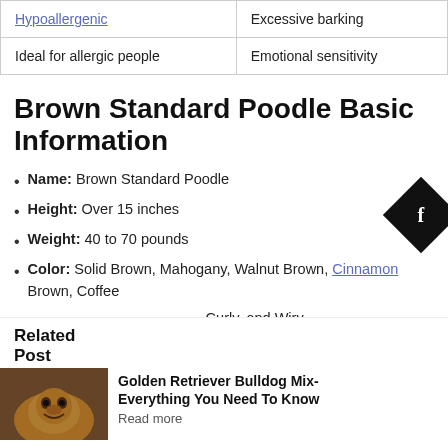| Hypoallergenic | Excessive barking |
| Ideal for allergic people | Emotional sensitivity |
Brown Standard Poodle Basic Information
Name: Brown Standard Poodle
Height: Over 15 inches
Weight: 40 to 70 pounds
Color: Solid Brown, Mahogany, Walnut Brown, Cinnamon Brown, Coffee
Curly, and Wiry
Related Post
Golden Retriever Bulldog Mix- Everything You Need To Know
Read more